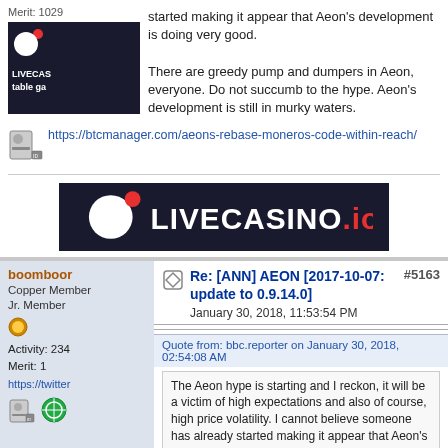Merit: 1029
started making it appear that Aeon's development is doing very good.
[Figure (logo): LIVECASINO.io thumbnail ad with white circle logo on dark background, text 'Live casi' and 'table ga']
There are greedy pump and dumpers in Aeon, everyone. Do not succumb to the hype. Aeon's development is still in murky waters.
https://btcmanager.com/aeons-rebase-moneros-code-within-reach/
[Figure (logo): LIVECASINO.io banner advertisement on dark background with white circle and red dot logo]
boomboor
Copper Member
Jr. Member
Activity: 234
Merit: 1
https://twitter
Re: [ANN] AEON [2017-10-07: update to 0.9.14.0]
#5163
January 30, 2018, 11:53:54 PM
Quote from: bbc.reporter on January 30, 2018, 02:54:08 AM
The Aeon hype is starting and I reckon, it will be a victim of high expectations and also of course, high price volatility. I cannot believe someone has already started making it appear that Aeon's development is doing very good.
There are greedy pump and dumpers in Aeon, everyone. Do not succumb to the hype. Aeon's development is still in murky waters.